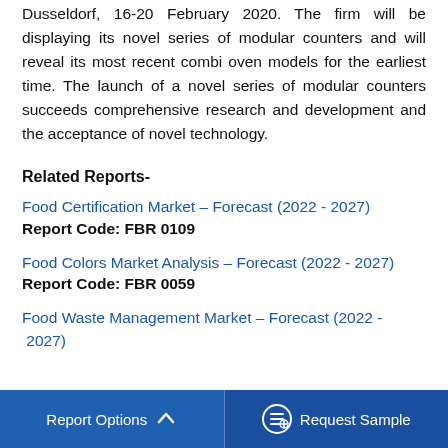Dusseldorf, 16-20 February 2020. The firm will be displaying its novel series of modular counters and will reveal its most recent combi oven models for the earliest time. The launch of a novel series of modular counters succeeds comprehensive research and development and the acceptance of novel technology.
Related Reports-
Food Certification Market – Forecast (2022 - 2027)
Report Code: FBR 0109
Food Colors Market Analysis – Forecast (2022 - 2027)
Report Code: FBR 0059
Food Waste Management Market – Forecast (2022 - 2027)
Report Options   ^   Request Sample